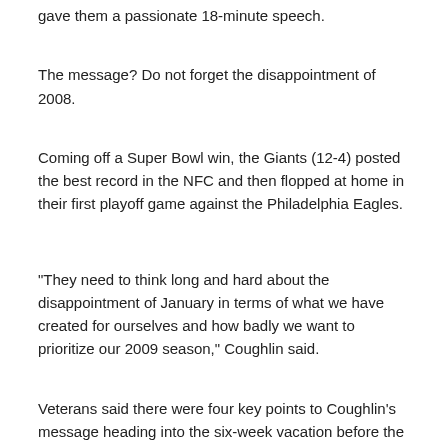gave them a passionate 18-minute speech.
The message? Do not forget the disappointment of 2008.
Coming off a Super Bowl win, the Giants (12-4) posted the best record in the NFC and then flopped at home in their first playoff game against the Philadelphia Eagles.
"They need to think long and hard about the disappointment of January in terms of what we have created for ourselves and how badly we want to prioritize our 2009 season," Coughlin said.
Veterans said there were four key points to Coughlin's message heading into the six-week vacation before the opening of training camp at the University at Albany in August.